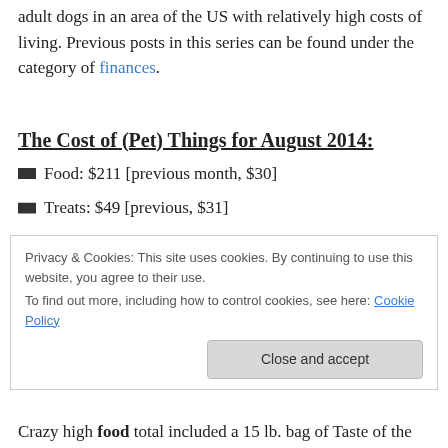adult dogs in an area of the US with relatively high costs of living. Previous posts in this series can be found under the category of finances.
The Cost of (Pet) Things for August 2014:
Food: $211 [previous month, $30]
Treats: $49 [previous, $31]
Grooming: $16 [previous, $5]
Privacy & Cookies: This site uses cookies. By continuing to use this website, you agree to their use.
To find out more, including how to control cookies, see here: Cookie Policy
Crazy high food total included a 15 lb. bag of Taste of the